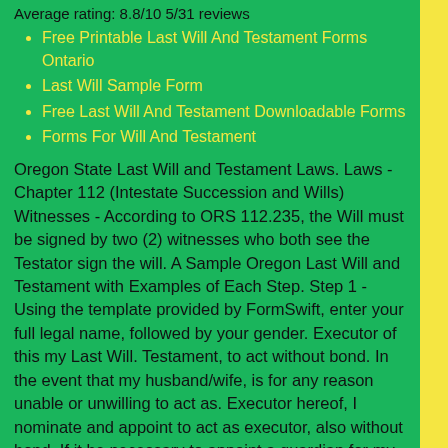Average rating: 8.8/10 5/31 reviews
Free Printable Last Will And Testament Forms Ontario
Last Will Sample Form
Free Last Will And Testament Downloadable Forms
Forms For Will And Testament
Oregon State Last Will and Testament Laws. Laws - Chapter 112 (Intestate Succession and Wills) Witnesses - According to ORS 112.235, the Will must be signed by two (2) witnesses who both see the Testator sign the will. A Sample Oregon Last Will and Testament with Examples of Each Step. Step 1 - Using the template provided by FormSwift, enter your full legal name, followed by your gender. Executor of this my Last Will. Testament, to act without bond. In the event that my husband/wife, is for any reason unable or unwilling to act as. Executor hereof, I nominate and appoint to act as executor, also without bond. If it be necessary to appoint a guardian for my children upon my death, I. A California Last Will and Testament is a legal estate-planning document used for the purpose of distributing an individual's property, whether